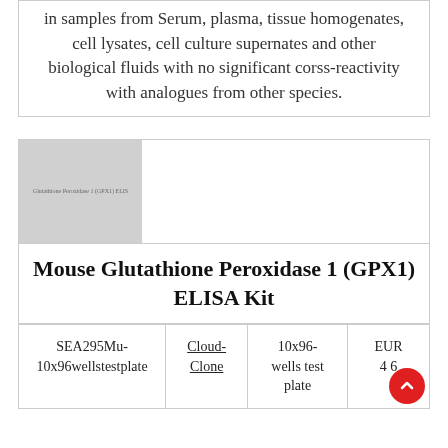in samples from Serum, plasma, tissue homogenates, cell lysates, cell culture supernates and other biological fluids with no significant corss-reactivity with analogues from other species.
[Figure (photo): Product image placeholder for Glutathione Peroxidase 1 (GPX1) ELISA kit with grey background]
Mouse Glutathione Peroxidase 1 (GPX1) ELISA Kit
| SKU | Brand | Pack Size | Price |
| --- | --- | --- | --- |
| SEA295Mu-10x96wellstestplate | Cloud-Clone | 10x96-wells test plate | EUR 4...6 |